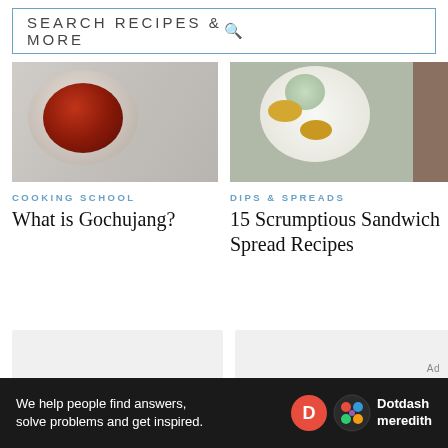SEARCH RECIPES & MORE
[Figure (photo): Bowl of red gochujang paste on a grey surface, viewed from above]
COOKING SCHOOL
What is Gochujang?
[Figure (photo): Plate with sandwich spreads and crackers on a wooden surface]
DIPS & SPREADS
15 Scrumptious Sandwich Spread Recipes
[Figure (photo): Placeholder image (light grey)]
[Figure (photo): Placeholder image (light grey)]
Ad
We help people find answers, solve problems and get inspired. Dotdash meredith